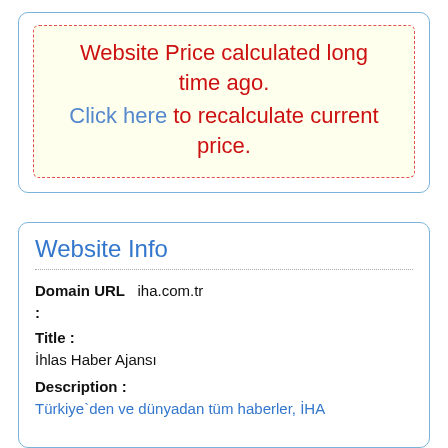Website Price calculated long time ago. Click here to recalculate current price.
Website Info
Domain URL : iha.com.tr
Title :
İhlas Haber Ajansı
Description :
Türkiye`den ve dünyadan tüm haberler, İHA